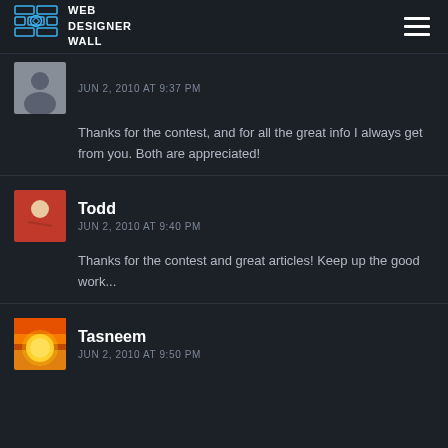WEB DESIGNER WALL
JUN 2, 2010 AT 9:37 PM
Thanks for the contest, and for all the great info I always get from you. Both are appreciated!
Todd
JUN 2, 2010 AT 9:40 PM
Thanks for the contest and great articles! Keep up the good work...
Tasneem
JUN 2, 2010 AT 9:50 PM